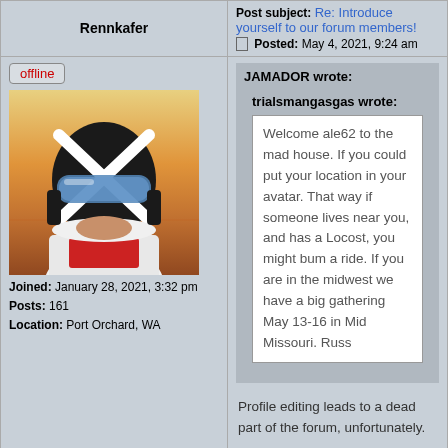Post subject: Re: Introduce yourself to our forum members! Posted: May 4, 2021, 9:24 am
Rennkafer
[Figure (photo): User avatar showing an animated character in a black and white helmet with an X symbol and goggles, with orange/sunset background]
Joined: January 28, 2021, 3:32 pm
Posts: 161
Location: Port Orchard, WA
JAMADOR wrote:
trialsmangasgas wrote:
Welcome ale62 to the mad house. If you could put your location in your avatar. That way if someone lives near you, and has a Locost, you might bum a ride. If you are in the midwest we have a big gathering May 13-16 in Mid Missouri. Russ
Profile editing leads to a dead part of the forum, unfortunately.